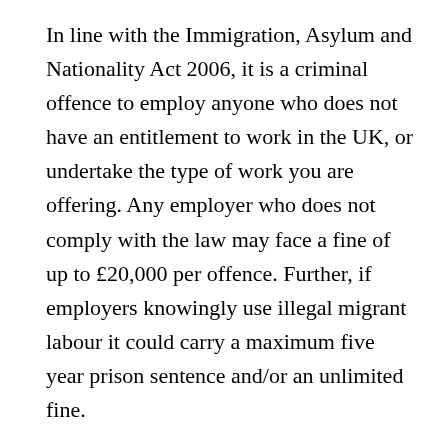In line with the Immigration, Asylum and Nationality Act 2006, it is a criminal offence to employ anyone who does not have an entitlement to work in the UK, or undertake the type of work you are offering. Any employer who does not comply with the law may face a fine of up to £20,000 per offence. Further, if employers knowingly use illegal migrant labour it could carry a maximum five year prison sentence and/or an unlimited fine.
In addition, since December 2016, section 38 of the Immigration Act 2016 allows immigration officers to close a business for up to 48 hours if there is a reasonable suspicion that they employ foreign workers illegally and they have previously committed specific offences of illegal working. The closure notice might then be cancelled or an illegal working